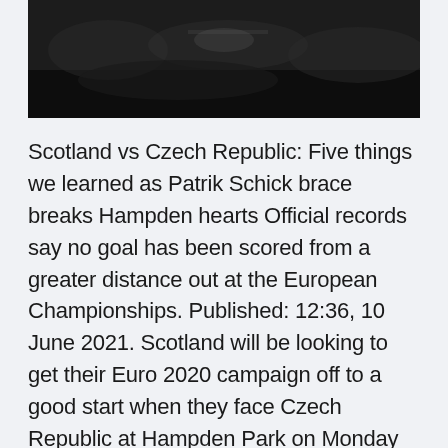[Figure (photo): Black and white photograph of a crowd or stadium scene, partially visible at the top of the page]
Scotland vs Czech Republic: Five things we learned as Patrik Schick brace breaks Hampden hearts Official records say no goal has been scored from a greater distance out at the European Championships. Published: 12:36, 10 June 2021. Scotland will be looking to get their Euro 2020 campaign off to a good start when they face Czech Republic at Hampden Park on Monday at 2pm. Posted on June 12, 2021. Scotland and Czech Republic will start their Euro 2020 campaign locking horns at Hampden Park on Monday. Both teams from Group D are seen as underdogs in their group. Scotland vs Czech Republic (6.30 pm IST) Poland vs Slovakia (9.30 pm IST) Spain vs Sweden (12.30 am IST) How to